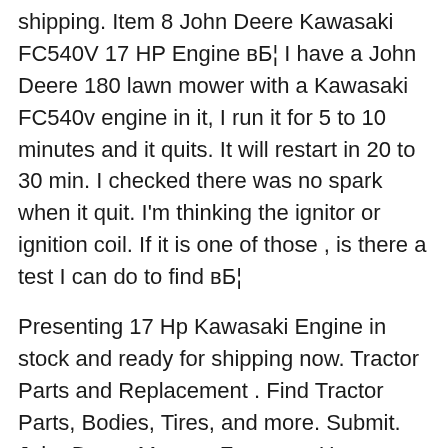shipping. Item 8 John Deere Kawasaki FC540V 17 HP Engine вБ¦ I have a John Deere 180 lawn mower with a Kawasaki FC540v engine in it, I run it for 5 to 10 minutes and it quits. It will restart in 20 to 30 min. I checked there was no spark when it quit. I'm thinking the ignitor or ignition coil. If it is one of those , is there a test I can do to find вБ¦
Presenting 17 Hp Kawasaki Engine in stock and ready for shipping now. Tractor Parts and Replacement . Find Tractor Parts, Bodies, Tires, and more. Submit. John Deere Massey Ferguson Husqvarna Farm Tractor Tractor Plow Tractor Engine 17 Kawasaki 17 Engine 17 John 17 Deere 17 Carburetor 17 Assembly 17 Igniter 17 Starter 17 Block 17 Fits 17 Motor 17 Mower 17 Lawn 17